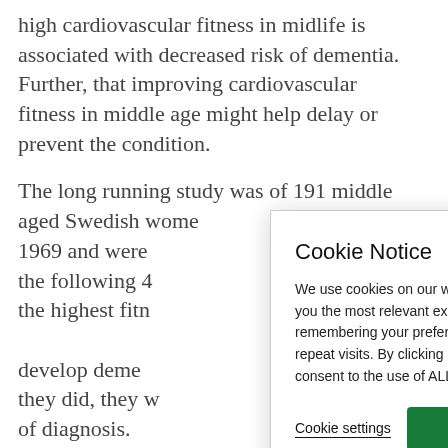high cardiovascular fitness in midlife is associated with decreased risk of dementia. Further, that improving cardiovascular fitness in middle age might help delay or prevent the condition.
The long running study was of 191 middle aged Swedish women… 1969 and were… the following 4… the highest fitn… develop deme… they did, they w… of diagnosis.
Although the s… factors such as… evidence linkin… health in later life.
[Figure (screenshot): Cookie Notice modal dialog overlaying the article text. Title: 'Cookie Notice'. Body text: 'We use cookies on our website to give you the most relevant experience by remembering your preferences and repeat visits. By clicking "Accept", you consent to the use of ALL the cookies.' Two buttons: 'Cookie settings' (underlined text link) and 'ACCEPT' (green button).]